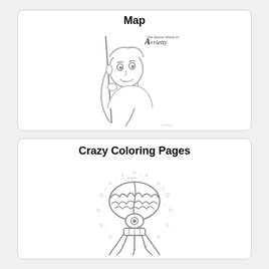Map
[Figure (illustration): A coloring page line drawing of Arrietty, a young girl character from the animated film 'The Secret World of Arrietty', holding a long stick/pin, with hair clips, looking upward. Title text 'Arrietty' and small subtitle 'The Secret World of Arrietty' visible in the upper right of the image.]
Crazy Coloring Pages
[Figure (illustration): A coloring page line drawing of a fantastical creature featuring a large brain-like top, a single eye in the middle, and tentacle/root-like limbs at the bottom, surrounded by dots and circles in a cloud-like pattern.]